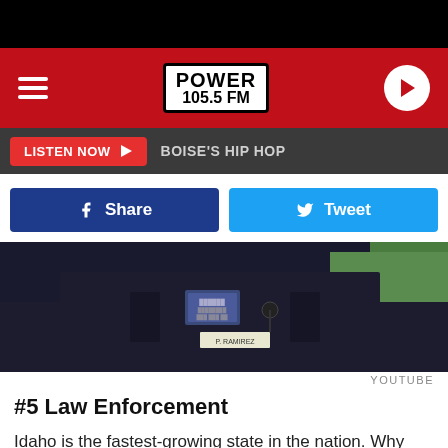[Figure (screenshot): Black top bar of mobile browser]
POWER 105.5 FM — BOISE'S HIP HOP
LISTEN NOW ▶  BOISE'S HIP HOP
[Figure (photo): Close-up photo of a police officer in uniform with badge and name tag]
YOUTUBE
#5 Law Enforcement
Idaho is the fastest-growing state in the nation. Why have we not hired more law enforcement officers to keep up with the increased population? Local police departments cannot fill vacancies and need
[Figure (screenshot): Ad banner: CVS Photo — Photo Quality Guaranteed]